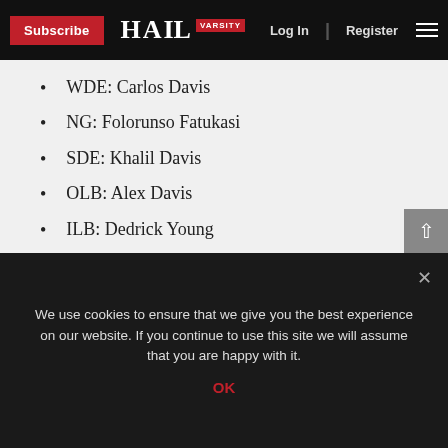Subscribe | HAIL VARSITY | Log In | Register
WDE: Carlos Davis
NG: Folorunso Fatukasi
SDE: Khalil Davis
OLB: Alex Davis
ILB: Dedrick Young
ILB: Avery Roberts
OLB: Tyrin Ferguson
Final Recruits:
WR: Gavin Holmes
We use cookies to ensure that we give you the best experience on our website. If you continue to use this site we will assume that you are happy with it.
OK